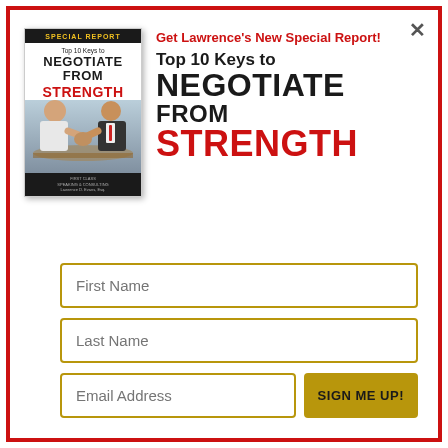[Figure (illustration): Book cover for 'Top 10 Keys to Negotiate From Strength' - Special Report with black header and red STRENGTH text, showing two men arm wrestling]
Get Lawrence's New Special Report!
Top 10 Keys to NEGOTIATE FROM STRENGTH
First Name
Last Name
Email Address
SIGN ME UP!